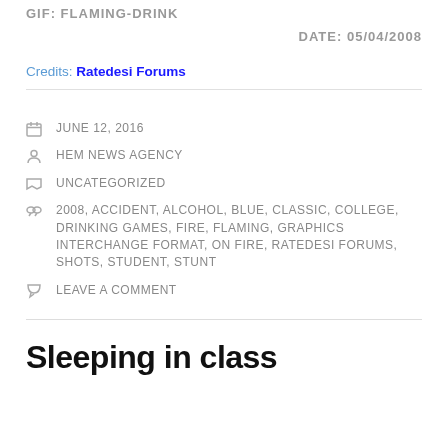GIF: FLAMING-DRINK
DATE: 05/04/2008
Credits: Ratedesi Forums
JUNE 12, 2016
HEM NEWS AGENCY
UNCATEGORIZED
2008, ACCIDENT, ALCOHOL, BLUE, CLASSIC, COLLEGE, DRINKING GAMES, FIRE, FLAMING, GRAPHICS INTERCHANGE FORMAT, ON FIRE, RATEDESI FORUMS, SHOTS, STUDENT, STUNT
LEAVE A COMMENT
Sleeping in class